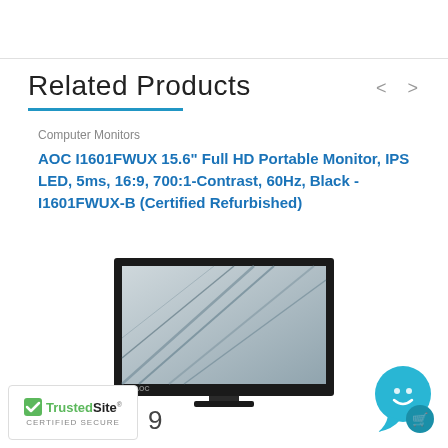Related Products
Computer Monitors
AOC I1601FWUX 15.6" Full HD Portable Monitor, IPS LED, 5ms, 16:9, 700:1-Contrast, 60Hz, Black - I1601FWUX-B (Certified Refurbished)
[Figure (photo): AOC portable monitor product image showing a thin-bezel 15.6 inch monitor displaying an architectural interior photo, with AOC logo at the bottom.]
[Figure (logo): TrustedSite Certified Secure badge with green checkmark]
[Figure (other): Teal chat/support bubble icon with shopping cart symbol]